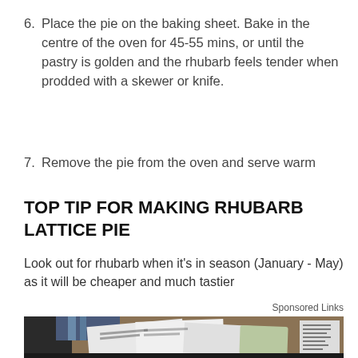6. Place the pie on the baking sheet. Bake in the centre of the oven for 45-55 mins, or until the pastry is golden and the rhubarb feels tender when prodded with a skewer or knife.
7. Remove the pie from the oven and serve warm
TOP TIP FOR MAKING RHUBARB LATTICE PIE
Look out for rhubarb when it's in season (January - May) as it will be cheaper and much tastier
Sponsored Links
[Figure (photo): Photo of envelopes and documents on a desk, appearing to be a sponsored advertisement image.]